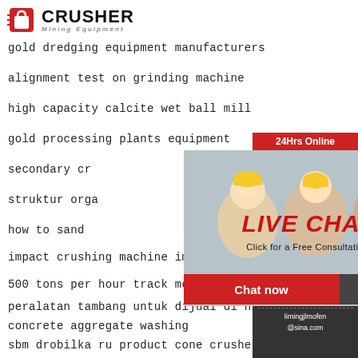[Figure (logo): Crusher Mining Equipment logo with red shopping cart icon and bold CRUSHER text]
gold dredging equipment manufacturers
alignment test on grinding machine
high capacity calcite wet ball mill
gold processing plants equipment
secondary cr...
struktur orga...
how to sand...
impact crushing machine impact crusher
500 tons per hour track mounted crusher
peralatan tambang untuk dijual di nz
concrete aggregate washing
sbm drobilka ru product cone crusher
[Figure (photo): Live chat popup overlay showing workers in yellow hard hats and LIVE CHAT text with Chat now and Chat later buttons]
[Figure (photo): Sidebar showing 24Hrs Online banner, customer service representative with headset, Need questions & suggestion, Chat Now button, Enquiry section, and limingjlmofen@sina.com email]